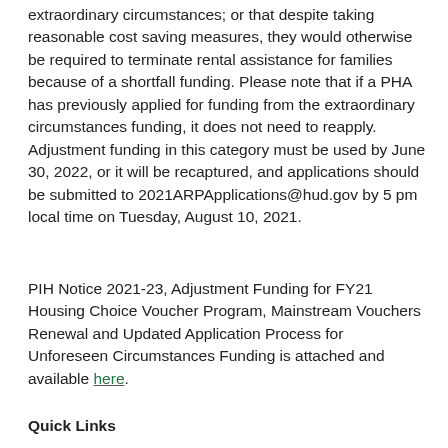extraordinary circumstances; or that despite taking reasonable cost saving measures, they would otherwise be required to terminate rental assistance for families because of a shortfall funding. Please note that if a PHA has previously applied for funding from the extraordinary circumstances funding, it does not need to reapply. Adjustment funding in this category must be used by June 30, 2022, or it will be recaptured, and applications should be submitted to 2021ARPApplications@hud.gov by 5 pm local time on Tuesday, August 10, 2021.
PIH Notice 2021-23, Adjustment Funding for FY21 Housing Choice Voucher Program, Mainstream Vouchers Renewal and Updated Application Process for Unforeseen Circumstances Funding is attached and available here.
Quick Links